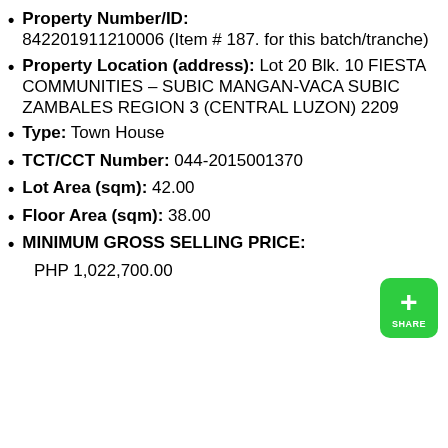Property Number/ID: 842201911210006 (Item # 187. for this batch/tranche)
Property Location (address): Lot 20 Blk. 10 FIESTA COMMUNITIES – SUBIC MANGAN-VACA SUBIC ZAMBALES REGION 3 (CENTRAL LUZON) 2209
Type: Town House
TCT/CCT Number: 044-2015001370
Lot Area (sqm): 42.00
Floor Area (sqm): 38.00
MINIMUM GROSS SELLING PRICE: PHP 1,022,700.00